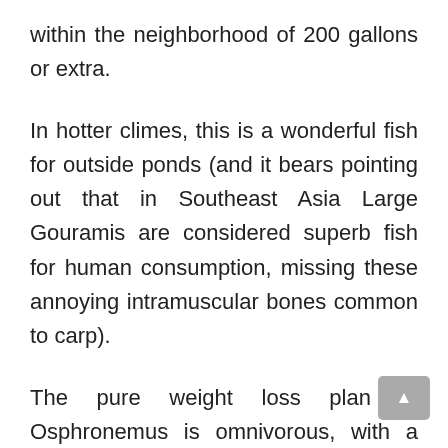within the neighborhood of 200 gallons or extra.
In hotter climes, this is a wonderful fish for outside ponds (and it bears pointing out that in Southeast Asia Large Gouramis are considered superb fish for human consumption, missing these annoying intramuscular bones common to carp).
The pure weight loss plan of Osphronemus is omnivorous, with a robust herbivorous element. In captivity, nearly any meal can be accepted, from pellets, to flakes, and